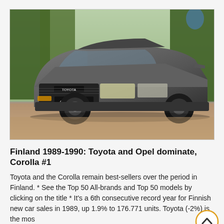[Figure (photo): A dark metallic Toyota Corolla sedan driving on a road, photographed from a front-three-quarter angle. Trees are visible in the background. The car features a 'COROLLA' badge on the front bumper and a 'TOYOTA' grille. The license plate reads 'LS 1549'.]
Finland 1989-1990: Toyota and Opel dominate, Corolla #1
Toyota and the Corolla remain best-sellers over the period in Finland. * See the Top 50 All-brands and Top 50 models by clicking on the title * It's a 6th consecutive record year for Finnish new car sales in 1989, up 1.9% to 176.771 units. Toyota (-2%) is the most…